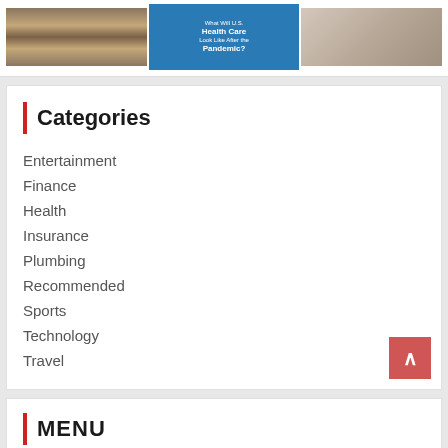[Figure (photo): Three thumbnail images: a bookshelf with books, a blue healthcare article cover reading 'What Will U.S. Health Care Look Like After the Pandemic?', and a person lying down on the floor]
Categories
Entertainment
Finance
Health
Insurance
Plumbing
Recommended
Sports
Technology
Travel
MENU